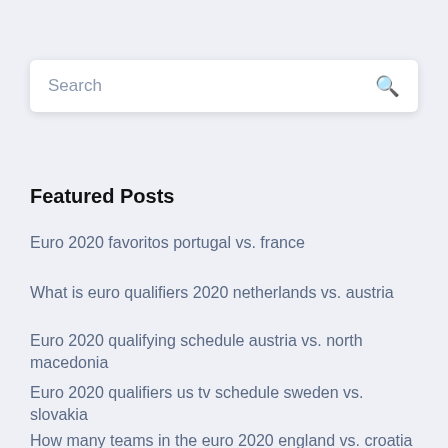[Figure (screenshot): Search bar with placeholder text 'Search' and a search icon on the right]
Featured Posts
Euro 2020 favoritos portugal vs. france
What is euro qualifiers 2020 netherlands vs. austria
Euro 2020 qualifying schedule austria vs. north macedonia
Euro 2020 qualifiers us tv schedule sweden vs. slovakia
How many teams in the euro 2020 england vs. croatia